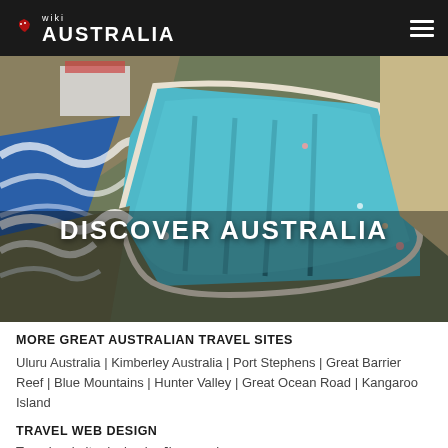wiki AUSTRALIA
[Figure (photo): Aerial view of a coastal ocean swimming pool carved into rocky coastline with turquoise blue water, ocean waves on the left side, and beachgoers visible around the pool edges]
DISCOVER AUSTRALIA
MORE GREAT AUSTRALIAN TRAVEL SITES
Uluru Australia | Kimberley Australia | Port Stephens | Great Barrier Reef | Blue Mountains | Hunter Valley | Great Ocean Road | Kangaroo Island
TRAVEL WEB DESIGN
Travel website design by Jimmyweb